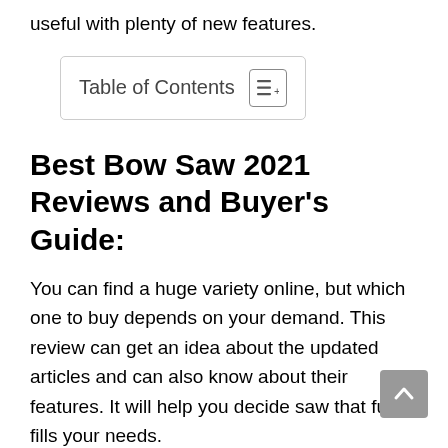useful with plenty of new features.
Table of Contents
Best Bow Saw 2021 Reviews and Buyer's Guide:
You can find a huge variety online, but which one to buy depends on your demand. This review can get an idea about the updated articles and can also know about their features. It will help you decide saw that full fills your needs.
Top 8 Best Bow Saw 2021